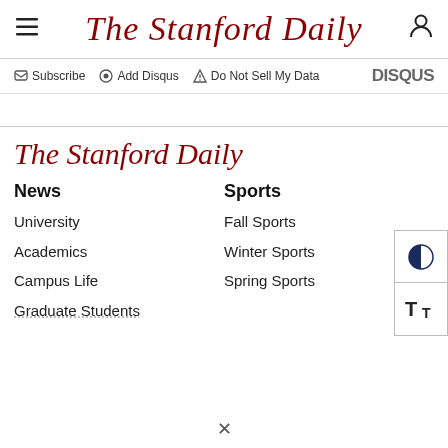The Stanford Daily
Subscribe  Add Disqus  Do Not Sell My Data  DISQUS
The Stanford Daily
News
University
Academics
Campus Life
Graduate Students
Sports
Fall Sports
Winter Sports
Spring Sports